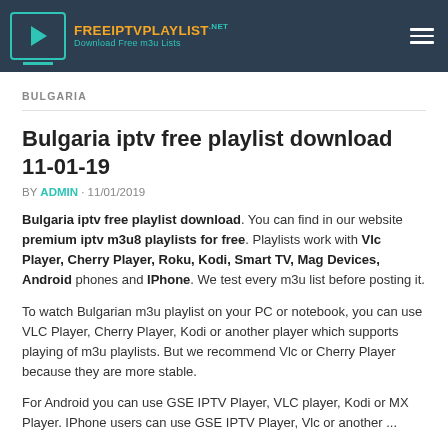FREEIPTVPLAYLIST.net — Download Free m3u Lists
BULGARIA
Bulgaria iptv free playlist download 11-01-19
BY ADMIN · 11/01/2019
Bulgaria iptv free playlist download. You can find in our website premium iptv m3u8 playlists for free. Playlists work with Vlc Player, Cherry Player, Roku, Kodi, Smart TV, Mag Devices, Android phones and IPhone. We test every m3u list before posting it.
To watch Bulgarian m3u playlist on your PC or notebook, you can use VLC Player, Cherry Player, Kodi or another player which supports playing of m3u playlists. But we recommend Vlc or Cherry Player because they are more stable.
For Android you can use GSE IPTV Player, VLC player, Kodi or MX Player. IPhone users can use GSE IPTV Player, Vlc or another ...